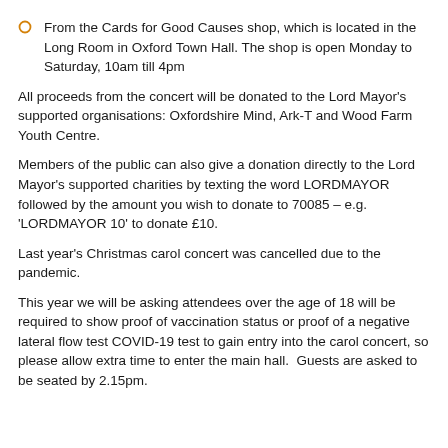From the Cards for Good Causes shop, which is located in the Long Room in Oxford Town Hall. The shop is open Monday to Saturday, 10am till 4pm
All proceeds from the concert will be donated to the Lord Mayor's supported organisations: Oxfordshire Mind, Ark-T and Wood Farm Youth Centre.
Members of the public can also give a donation directly to the Lord Mayor's supported charities by texting the word LORDMAYOR followed by the amount you wish to donate to 70085 – e.g. 'LORDMAYOR 10' to donate £10.
Last year's Christmas carol concert was cancelled due to the pandemic.
This year we will be asking attendees over the age of 18 will be required to show proof of vaccination status or proof of a negative lateral flow test COVID-19 test to gain entry into the carol concert, so please allow extra time to enter the main hall.  Guests are asked to be seated by 2.15pm.